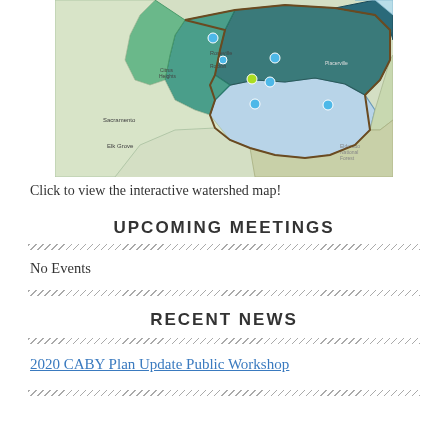[Figure (map): Interactive watershed map showing Sacramento region watersheds in shades of teal, green, and light blue, with small colored dots marking points of interest. Place names include Sacramento, Elk Grove, Citrus Heights, Roseville, Placerville.]
Click to view the interactive watershed map!
UPCOMING MEETINGS
No Events
RECENT NEWS
2020 CABY Plan Update Public Workshop